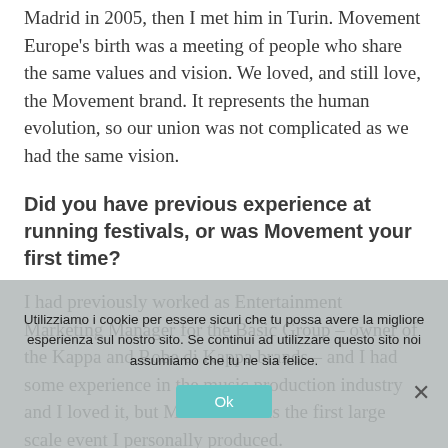Madrid in 2005, then I met him in Turin. Movement Europe's birth was a meeting of people who share the same values and vision. We loved, and still love, the Movement brand. It represents the human evolution, so our union was not complicated as we had the same vision.
Did you have previous experience at running festivals, or was Movement your first time?
I had previously worked as Entertainment Marketing Manager for the Basic Group – owner of the Kappa and Robe di Kappa brands – and I had some experience in the music production industry and I loved it, but Movement was the first large scale event I personally produced.
The world of electronic music has
Utilizziamo i cookie per essere sicuri che tu possa avere la migliore esperienza sul nostro sito. Se continui ad utilizzare questo sito noi assumiamo che tu ne sia felice.